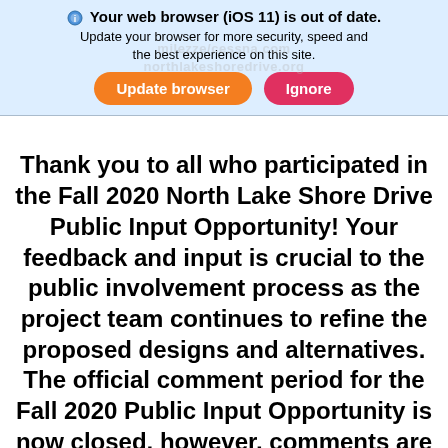[Figure (screenshot): Browser update notification banner with blue background, shield icon, bold warning text, and two buttons: orange 'Update browser' and pink/red 'Ignore']
Thank you to all who participated in the Fall 2020 North Lake Shore Drive Public Input Opportunity! Your feedback and input is crucial to the public involvement process as the project team continues to refine the proposed designs and alternatives. The official comment period for the Fall 2020 Public Input Opportunity is now closed, however, comments are welcome throughout the entire project development process. Please email the project team at
info@northlakeshoredrive.org or